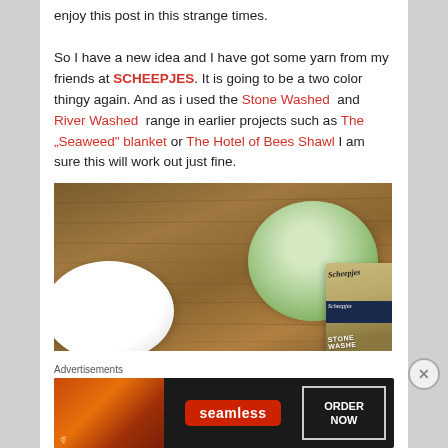enjoy this post in this strange times.

So I have a new idea and I have got some yarn from my friends at SCHEEPJES. It is going to be a two color thingy again. And as i used the Stone Washed and River Washed range in earlier projects such as The „Seaweed" blanket or The Hotel of Bees Shawl I am sure this will work out just fine.
[Figure (photo): Two balls of Scheepjes Stone Washed yarn on a wooden surface — one white and one light green, with the Scheepjes Stone Washed label visible on the green ball.]
Advertisements
[Figure (screenshot): Seamless food delivery advertisement banner with pizza image on left, Seamless logo in center, and ORDER NOW button on right, on dark background.]